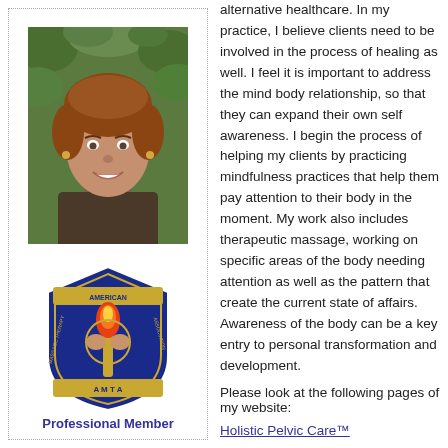[Figure (photo): Headshot of a smiling woman with short auburn hair, wearing a dark top, in front of green foliage]
[Figure (logo): AMTA (American Massage Therapy Association) logo with torch and shield emblem, text 'Professional Member' below]
alternative healthcare. In my practice, I believe clients need to be involved in the process of healing as well. I feel it is important to address the mind body relationship, so that they can expand their own self awareness. I begin the process of helping my clients by practicing mindfulness practices that help them pay attention to their body in the moment. My work also includes therapeutic massage, working on specific areas of the body needing attention as well as the pattern that create the current state of affairs. Awareness of the body can be a key entry to personal transformation and development.
Please look at the following pages of my website:
Holistic Pelvic Care™
Orthopedic massage
Pregnancy massage
Relaxation massage and guided me...
Breath work and recovery
Hand and foot reflexology